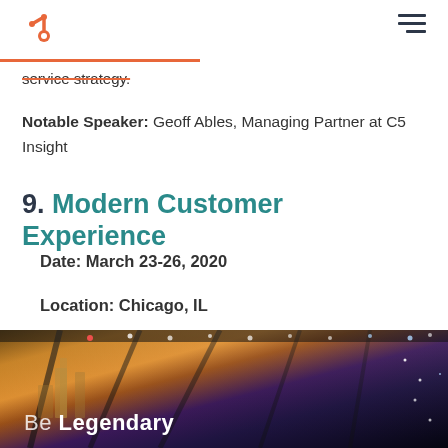HubSpot logo and navigation menu
service strategy.
Notable Speaker: Geoff Ables, Managing Partner at C5 Insight
9. Modern Customer Experience
Date: March 23-26, 2020
Location: Chicago, IL
[Figure (photo): Conference stage photo showing 'Be Legendary' text on a large screen with stage lighting and Chicago skyline imagery]